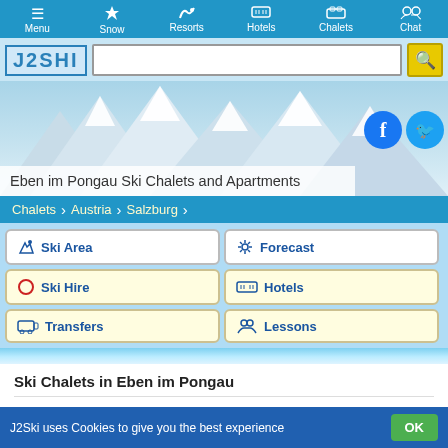Menu | Snow | Resorts | Hotels | Chalets | Chat
[Figure (screenshot): J2Ski logo and search bar with yellow search button]
[Figure (photo): Ski mountain hero image with social media icons (Facebook, Twitter)]
Eben im Pongau Ski Chalets and Apartments
Chalets > Austria > Salzburg
[Figure (infographic): Navigation buttons: Ski Area, Forecast, Ski Hire, Hotels, Transfers, Lessons]
Ski Chalets in Eben im Pongau
Map of Ski Chalets and Apartments in Eben im Pongau
View dozens of Ski Chalets and Apartments in Eben im Pongau, like the
J2Ski uses Cookies to give you the best experience